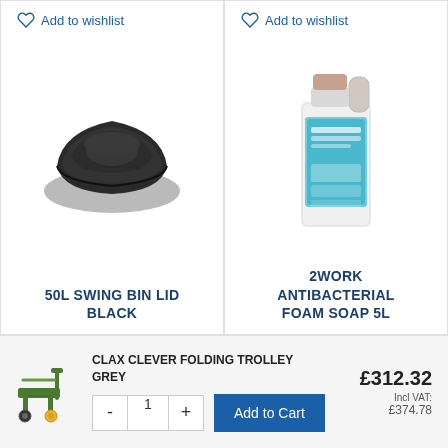[Figure (photo): 50L swing bin lid in black plastic]
Add to wishlist
50L SWING BIN LID BLACK
[Figure (photo): 2Work Antibacterial Foam Soap 5L bottle]
Add to wishlist
2WORK ANTIBACTERIAL FOAM SOAP 5L
[Figure (photo): Clax Clever Folding Trolley Grey]
CLAX CLEVER FOLDING TROLLEY GREY
£312.32
Incl VAT: £374.78
- 1 + Add to Cart